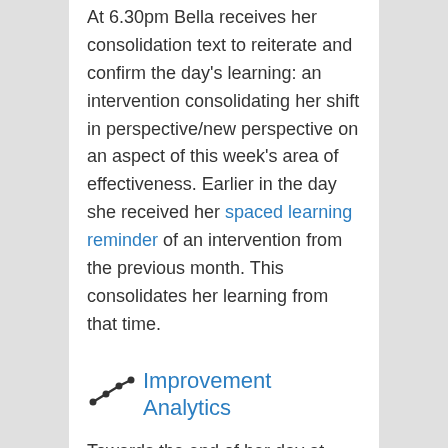At 6.30pm Bella receives her consolidation text to reiterate and confirm the day's learning: an intervention consolidating her shift in perspective/new perspective on an aspect of this week's area of effectiveness. Earlier in the day she received her spaced learning reminder of an intervention from the previous month. This consolidates her learning from that time.
Improvement Analytics
Towards the end of her day at 7pm Bella gets her checkout text, chasing her to ensure she's focused on only her short,